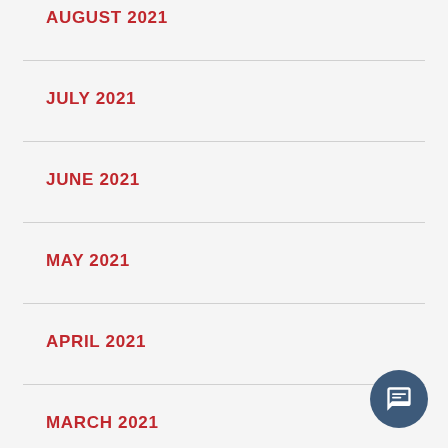AUGUST 2021
JULY 2021
JUNE 2021
MAY 2021
APRIL 2021
MARCH 2021